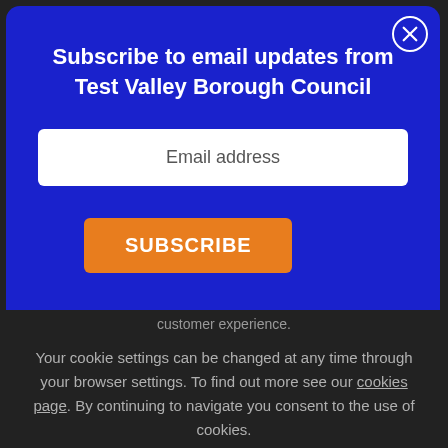Subscribe to email updates from Test Valley Borough Council
Email address
SUBSCRIBE
No thanks Remind me later
Customer experience.
Your cookie settings can be changed at any time through your browser settings. To find out more see our cookies page. By continuing to navigate you consent to the use of cookies.
✓ OK, I understand